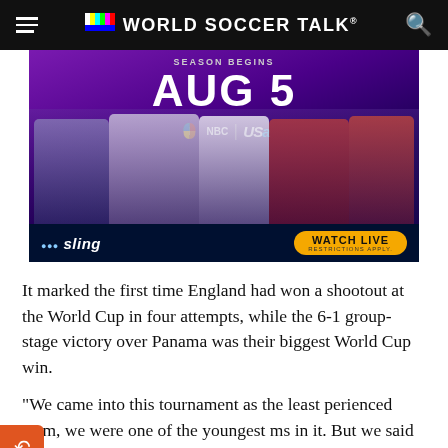WORLD SOCCER TALK
[Figure (photo): Sling TV advertisement for Premier League on NBC/USA Network. Season begins Aug 5. Shows soccer players including Christian Pulisic, Son Heung-min, and Arsenal players. Watch Live button. Restrictions Apply.]
It marked the first time England had won a shootout at the World Cup in four attempts, while the 6-1 group-stage victory over Panama was their biggest World Cup win.
“We came into this tournament as the least experienced team, we were one of the youngest teams in it. But we said that we’re an improving